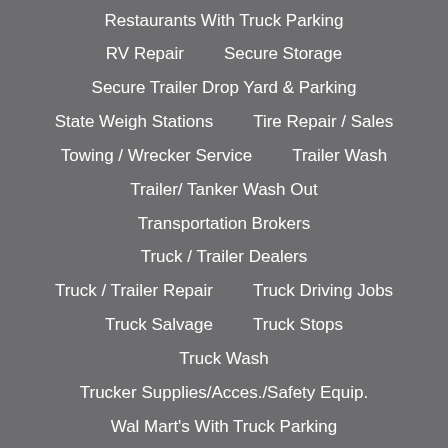Restaurants With Truck Parking
RV Repair    Secure Storage
Secure Trailer Drop Yard & Parking
State Weigh Stations    Tire Repair / Sales
Towing / Wrecker Service    Trailer Wash
Trailer/ Tanker Wash Out
Transportation Brokers
Truck / Trailer Dealers
Truck / Trailer Repair    Truck Driving Jobs
Truck Salvage    Truck Stops
Truck Wash
Trucker Supplies/Acces./Safety Equip.
Wal Mart's With Truck Parking